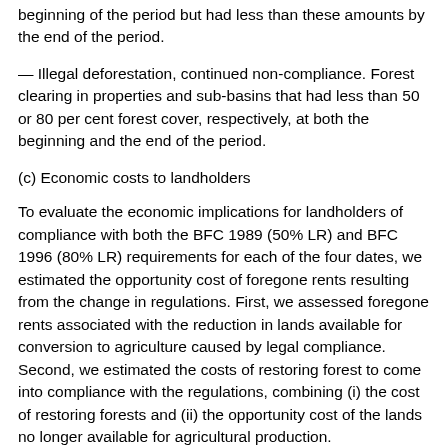beginning of the period but had less than these amounts by the end of the period.
— Illegal deforestation, continued non-compliance. Forest clearing in properties and sub-basins that had less than 50 or 80 per cent forest cover, respectively, at both the beginning and the end of the period.
(c) Economic costs to landholders
To evaluate the economic implications for landholders of compliance with both the BFC 1989 (50% LR) and BFC 1996 (80% LR) requirements for each of the four dates, we estimated the opportunity cost of foregone rents resulting from the change in regulations. First, we assessed foregone rents associated with the reduction in lands available for conversion to agriculture caused by legal compliance. Second, we estimated the costs of restoring forest to come into compliance with the regulations, combining (i) the cost of restoring forests and (ii) the opportunity cost of the lands no longer available for agricultural production.
The opportunity costs of compliance with the BFC for